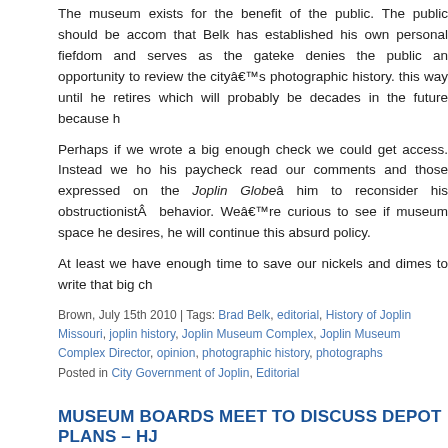The museum exists for the benefit of the public. The public should be accommodated but it appears that Belk has established his own personal fiefdom and serves as the gatekeeper of history. This denies the public an opportunity to review the city's photographic history. It appears that Belk plans to continue this way until he retires which will probably be decades in the future because he feels quite secure.
Perhaps if we wrote a big enough check we could get access. Instead we hope that the people paying his paycheck read our comments and those expressed on the Joplin Globe's website and encourage him to reconsider his obstructionist behavior. We're curious to see if, once the museum has the museum space he desires, he will continue this absurd policy.
At least we have enough time to save our nickels and dimes to write that big ch
Brown, July 15th 2010 | Tags: Brad Belk, editorial, History of Joplin Missouri, joplin history, Joplin Museum Complex, Joplin Museum Complex Director, opinion, photographic history, photographs
Posted in City Government of Joplin, Editorial
MUSEUM BOARDS MEET TO DISCUSS DEPOT PLANS – HJ
Today's Joplin Globe reported that the Joplin Museum and Historical Society boards met to discuss the Gryphon Building and Union Depot as potential locations for the Joplin Museum Complex. Both boards voted against a proposal to purchase the newly renovated Gryphon Building. The cost of the Gryphon Building was far too high for the museum.
Joplin Museum Complex Director Brad Belk then discussed the Union Depot. He said that it is better laid out than the current museum location— he claimed the size of the depot is comparable to the current museum facility and that it has water issues in the basement.
Gee.
The depot is almost one hundred years old and has been sitting empty since windows, no doors, and no maintenance, it's not surprising that it has a fe architect and one contractor have expressed their opinion that the structure is